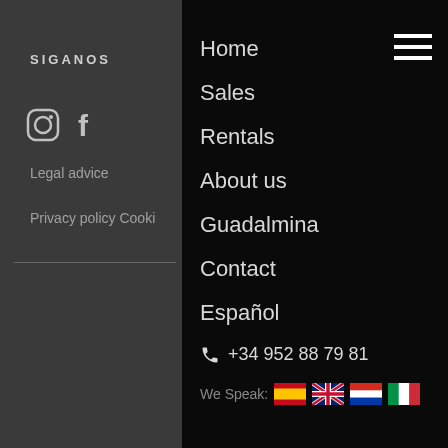SIGANOS
[Figure (illustration): Instagram and Facebook social media icons in grey]
Legal advice
Privacy policy Cooki
[Figure (illustration): Hamburger menu icon (three horizontal lines) in white]
Home
Sales
Rentals
About us
Guadalmina
Contact
Español
+34 952 88 79 81
We Speak: [Spanish flag] [UK flag] [Paraguayan flag] [Italian flag]